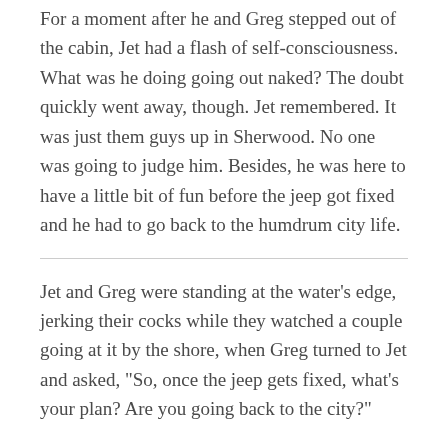For a moment after he and Greg stepped out of the cabin, Jet had a flash of self-consciousness. What was he doing going out naked? The doubt quickly went away, though. Jet remembered. It was just them guys up in Sherwood. No one was going to judge him. Besides, he was here to have a little bit of fun before the jeep got fixed and he had to go back to the humdrum city life.
Jet and Greg were standing at the water's edge, jerking their cocks while they watched a couple going at it by the shore, when Greg turned to Jet and asked, "So, once the jeep gets fixed, what's your plan? Are you going back to the city?"
A quiet moan slipped out of Jet. It took a moment for Greg's words to register. The lemony scent had